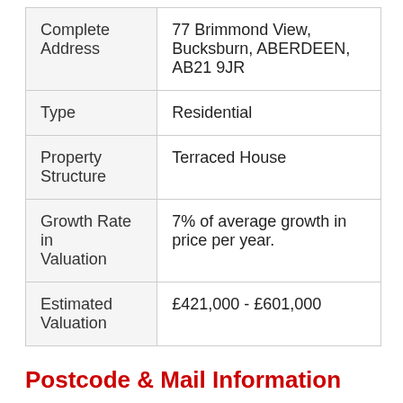| Complete Address | 77 Brimmond View, Bucksburn, ABERDEEN, AB21 9JR |
| Type | Residential |
| Property Structure | Terraced House |
| Growth Rate in Valuation | 7% of average growth in price per year. |
| Estimated Valuation | £421,000 - £601,000 |
Postcode & Mail Information